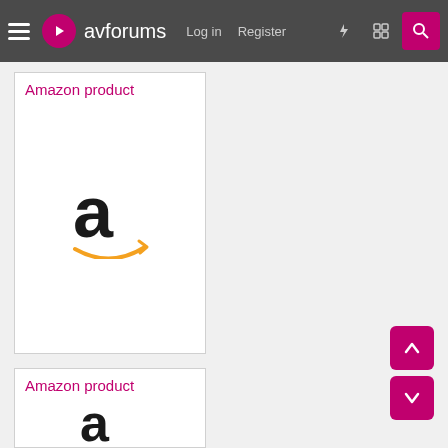avforums — Log in  Register
[Figure (logo): Amazon product card with Amazon logo (large 'a' with orange swoosh arrow)]
[Figure (logo): Second Amazon product card with Amazon logo (large 'a' partially visible)]